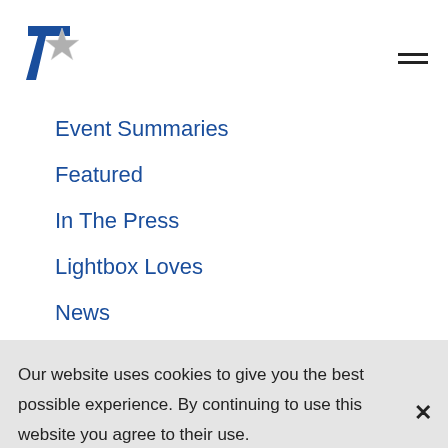[Figure (logo): 7 star logo with blue numeral 7 and silver star]
Event Summaries
Featured
In The Press
Lightbox Loves
News
Our website uses cookies to give you the best possible experience. By continuing to use this website you agree to their use.